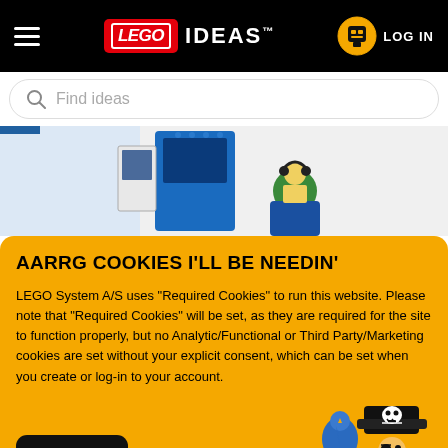LEGO IDEAS — LOG IN
Find ideas
[Figure (photo): LEGO minifigure scene with blue arcade/gaming machine and a minifigure wearing green headphones sitting in a chair]
AARRG COOKIES I'LL BE NEEDIN'
LEGO System A/S uses "Required Cookies" to run this website. Please note that "Required Cookies" will be set, as they are required for the site to function properly, but no Analytic/Functional or Third Party/Marketing cookies are set without your explicit consent, which can be set when you create or log-in to your account.
[Figure (illustration): LEGO pirate minifigure with skull-and-crossbones hat and a blue parrot]
OK